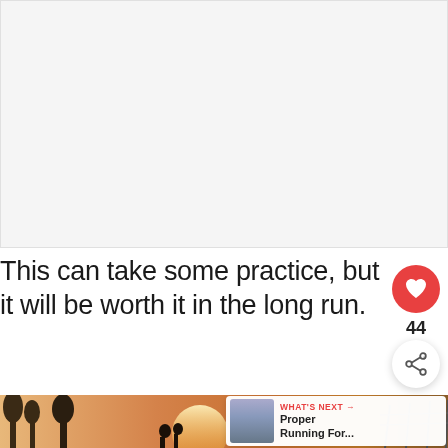[Figure (photo): White/light gray placeholder area representing an image at the top of the article page]
This can take some practice, but it will be worth it in the long run.
[Figure (photo): Outdoor sunset photo with silhouettes of people and trees, warm orange tones. Overlay shows 'WHAT'S NEXT' with thumbnail for 'Proper Running For...']